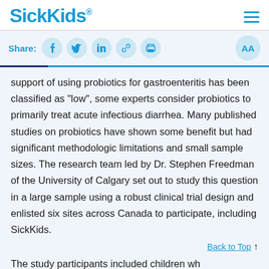SickKids
[Figure (other): Share bar with social media icons (Facebook, Twitter, LinkedIn, link, print) and AA text size button]
support of using probiotics for gastroenteritis has been classified as “low”, some experts consider probiotics to primarily treat acute infectious diarrhea. Many published studies on probiotics have shown some benefit but had significant methodologic limitations and small sample sizes. The research team led by Dr. Stephen Freedman of the University of Calgary set out to study this question in a large sample using a robust clinical trial design and enlisted six sites across Canada to participate, including SickKids.
The study participants included children wh